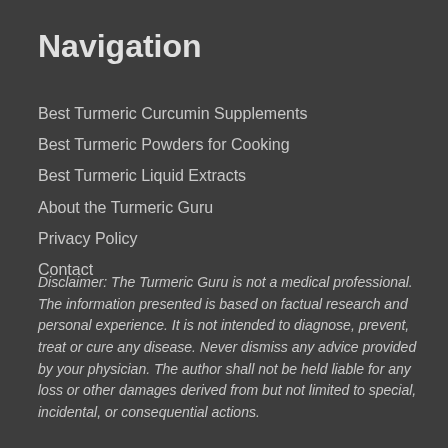Navigation
Best Turmeric Curcumin Supplements
Best Turmeric Powders for Cooking
Best Turmeric Liquid Extracts
About the Turmeric Guru
Privacy Policy
Contact
Disclaimer: The Turmeric Guru is not a medical professional. The information presented is based on factual research and personal experience. It is not intended to diagnose, prevent, treat or cure any disease. Never dismiss any advice provided by your physician. The author shall not be held liable for any loss or other damages derived from but not limited to special, incidental, or consequential actions.